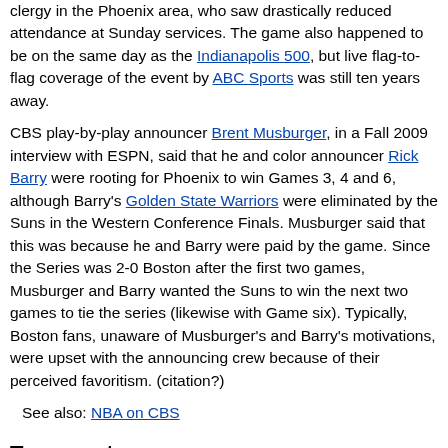clergy in the Phoenix area, who saw drastically reduced attendance at Sunday services. The game also happened to be on the same day as the Indianapolis 500, but live flag-to-flag coverage of the event by ABC Sports was still ten years away.
CBS play-by-play announcer Brent Musburger, in a Fall 2009 interview with ESPN, said that he and color announcer Rick Barry were rooting for Phoenix to win Games 3, 4 and 6, although Barry's Golden State Warriors were eliminated by the Suns in the Western Conference Finals. Musburger said that this was because he and Barry were paid by the game. Since the Series was 2-0 Boston after the first two games, Musburger and Barry wanted the Suns to win the next two games to tie the series (likewise with Game six). Typically, Boston fans, unaware of Musburger's and Barry's motivations, were upset with the announcing crew because of their perceived favoritism. (citation?)
See also: NBA on CBS
Team rosters
Boston Celtics
| 1975–76 Boston Celtics roster |
| --- |
| Players |